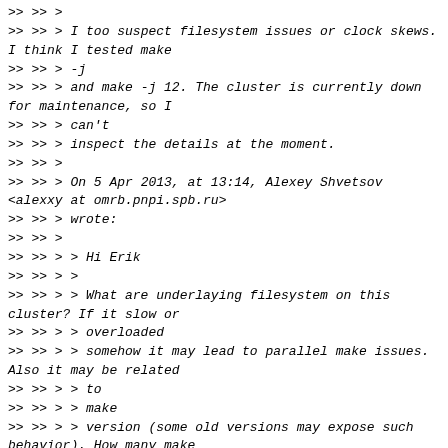>> >> >
>> >> > I too suspect filesystem issues or clock skews. I think I tested make
>> >> > -j
>> >> > and make -j 12. The cluster is currently down for maintenance, so I
>> >> > can't
>> >> > inspect the details at the moment.
>> >> >
>> >> > On 5 Apr 2013, at 13:14, Alexey Shvetsov <alexxy at omrb.pnpi.spb.ru>
>> >> > wrote:
>> >> >
>> >> > > Hi Erik
>> >> > >
>> >> > > What are underlaying filesystem on this cluster? If it slow or
>> >> > > overloaded
>> >> > > somehow it may lead to parallel make issues. Also it may be related
>> >> > > to
>> >> > > make
>> >> > > version (some old versions may expose such behavior). How many make
>> >> > > threads do
>> >> > > you issued? I tryed with make -j64 and it builds fine with recent
>> >> > > cmake
>> >> > > (2.8.10) and make (3.82) utility.
>> >> > >
>> >> >